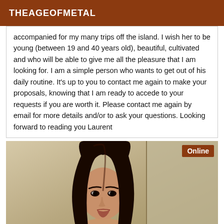THEAGEOFMETAL
accompanied for my many trips off the island. I wish her to be young (between 19 and 40 years old), beautiful, cultivated and who will be able to give me all the pleasure that I am looking for. I am a simple person who wants to get out of his daily routine. It's up to you to contact me again to make your proposals, knowing that I am ready to accede to your requests if you are worth it. Please contact me again by email for more details and/or to ask your questions. Looking forward to reading you Laurent
[Figure (photo): Young Asian woman with long dark hair, looking at the camera, with an 'Online' badge in the top-right corner of the image.]